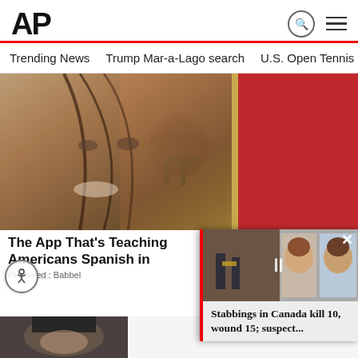[Figure (logo): AP (Associated Press) logo in bold black text with red underline]
Trending News   Trump Mar-a-Lago search   U.S. Open Tennis
[Figure (photo): Main feature image showing a smiling woman with hair blowing across her face overlaid with the Mexican flag (green, white with eagle emblem, red)]
The App That's Teaching Ame[ricans Spanish in] Weeks
Promoted : Babbel
[Figure (photo): Popup video player showing Canada stabbing news with thumbnail of military personnel and suspect photos. Red bar on left side, close X button top right.]
Stabbings in Canada kill 10, wound 15; suspect...
[Figure (photo): Bottom strip showing partial image of a person's face, dark toned]